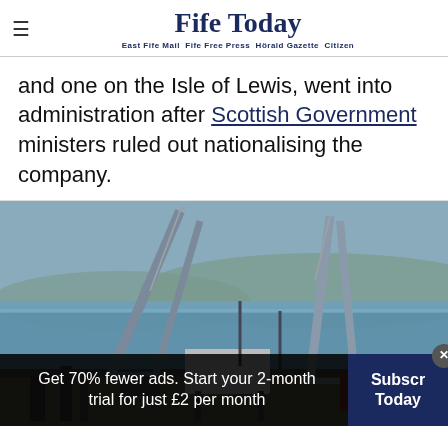Fife Today — East Fife Mail  Fife Free Press  Hörald Gazette  Citizen
and one on the Isle of Lewis, went into administration after Scottish Government ministers ruled out nationalising the company.
[Figure (photo): Industrial harbour scene with large metal cranes against a background of grey sea and hills. Red and grey machinery visible in the foreground.]
Get 70% fewer ads. Start your 2-month trial for just £2 per month